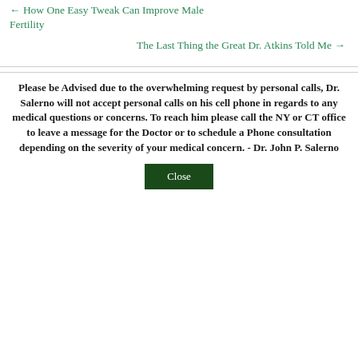← How One Easy Tweak Can Improve Male Fertility
The Last Thing the Great Dr. Atkins Told Me →
Please be Advised due to the overwhelming request by personal calls, Dr. Salerno will not accept personal calls on his cell phone in regards to any medical questions or concerns. To reach him please call the NY or CT office to leave a message for the Doctor or to schedule a Phone consultation depending on the severity of your medical concern. - Dr. John P. Salerno
Close